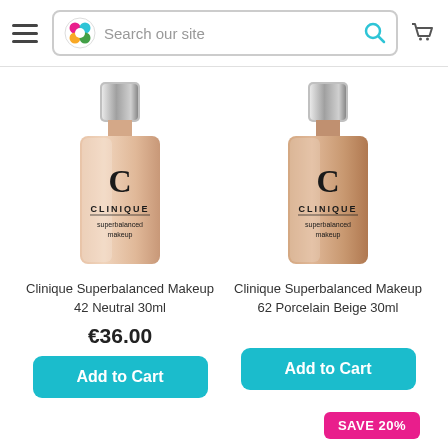[Figure (screenshot): Page header with hamburger menu, colorful logo, search box reading 'Search our site', search icon (teal), and cart icon]
[Figure (photo): Clinique Superbalanced Makeup bottle 42 Neutral 30ml - light beige glass bottle with silver cap and Clinique logo]
Clinique Superbalanced Makeup 42 Neutral 30ml
€36.00
Add to Cart
[Figure (photo): Clinique Superbalanced Makeup bottle 62 Porcelain Beige 30ml - slightly darker beige glass bottle with silver cap and Clinique logo]
Clinique Superbalanced Makeup 62 Porcelain Beige 30ml
Add to Cart
SAVE 20%